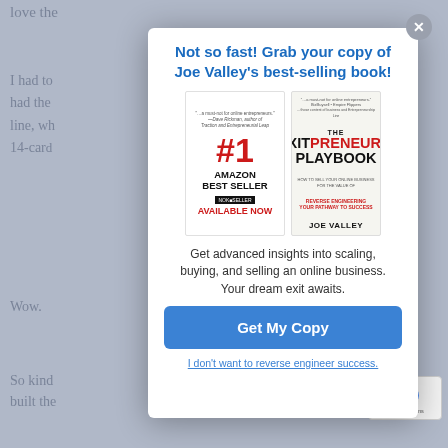[Figure (screenshot): Background webpage text partially visible behind modal overlay, showing gray text on gray background]
[Figure (other): Modal popup dialog promoting Joe Valley's book 'The Exitpreneur's Playbook' — #1 Amazon Best Seller, Available Now, with book cover image]
Not so fast! Grab your copy of Joe Valley's best-selling book!
Get advanced insights into scaling, buying, and selling an online business. Your dream exit awaits.
Get My Copy
I don't want to reverse engineer success.